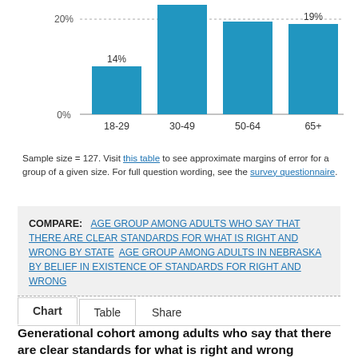[Figure (bar-chart): ]
Sample size = 127. Visit this table to see approximate margins of error for a group of a given size. For full question wording, see the survey questionnaire.
COMPARE: AGE GROUP AMONG ADULTS WHO SAY THAT THERE ARE CLEAR STANDARDS FOR WHAT IS RIGHT AND WRONG BY STATE  AGE GROUP AMONG ADULTS IN NEBRASKA BY BELIEF IN EXISTENCE OF STANDARDS FOR RIGHT AND WRONG
Chart   Table   Share
Generational cohort among adults who say that there are clear standards for what is right and wrong